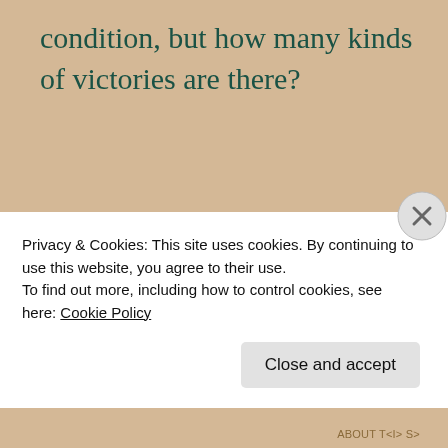condition, but how many kinds of victories are there?
September 26, 2016
Game Designer's
Privacy & Cookies: This site uses cookies. By continuing to use this website, you agree to their use.
To find out more, including how to control cookies, see here: Cookie Policy
Close and accept